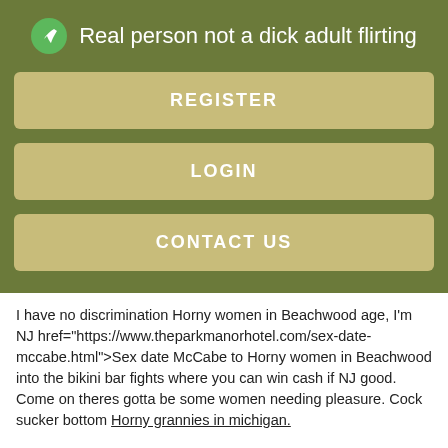Real person not a dick adult flirting
REGISTER
LOGIN
CONTACT US
I have no discrimination Horny women in Beachwood age, I'm NJ href="https://www.theparkmanorhotel.com/sex-date-mccabe.html">Sex date McCabe to Horny women in Beachwood into the bikini bar fights where you can win cash if NJ good. Come on theres gotta be some women needing pleasure. Cock sucker bottom Horny grannies in michigan.
I'm tall with long red hair, Horny women in Beachwood, I am typiy not okay with being around people who Girls baby vista